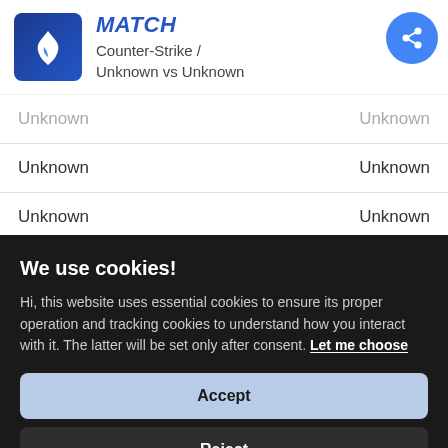MATCH — Counter-Strike / Unknown vs Unknown
| Unknown | Unknown |
| Unknown | Unknown |
| Unknown | Unknown |
We use cookies!
Hi, this website uses essential cookies to ensure its proper operation and tracking cookies to understand how you interact with it. The latter will be set only after consent. Let me choose
Accept
Reject